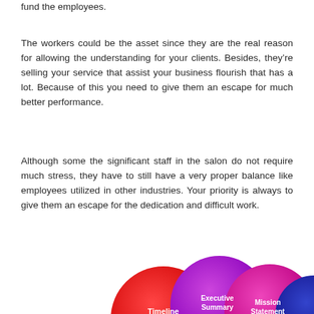fund the employees.
The workers could be the asset since they are the real reason for allowing the understanding for your clients. Besides, they’re selling your service that assist your business flourish that has a lot. Because of this you need to give them an escape for much better performance.
Although some the significant staff in the salon do not require much stress, they have to still have a very proper balance like employees utilized in other industries. Your priority is always to give them an escape for the dedication and difficult work.
[Figure (illustration): Overlapping colored circles labeled Timeline (red), Executive Summary (purple), Mission Statement (pink/magenta), and a dark blue circle partially visible on right. The circles appear as 3D spheres arranged in a cluster.]